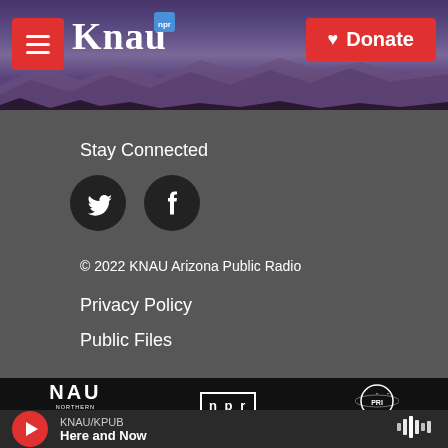[Figure (screenshot): KNAU NPR radio station website header with mountain landscape background, hamburger menu button, KNAU NPR logo, and red Donate button]
Stay Connected
[Figure (illustration): Twitter bird icon in black circle]
[Figure (illustration): Facebook f icon in black circle]
© 2022 KNAU Arizona Public Radio
Privacy Policy
Public Files
[Figure (logo): NAU Northern Arizona University logo]
[Figure (logo): NPR logo]
[Figure (logo): PRI logo]
KNAU/KPUB Here and Now